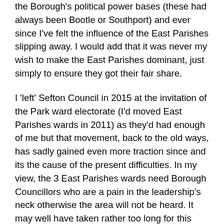the Borough's political power bases (these had always been Bootle or Southport) and ever since I've felt the influence of the East Parishes slipping away. I would add that it was never my wish to make the East Parishes dominant, just simply to ensure they got their fair share.
I 'left' Sefton Council in 2015 at the invitation of the Park ward electorate (I'd moved East Parishes wards in 2011) as they'd had enough of me but that movement, back to the old ways, has sadly gained even more traction since and its the cause of the present difficulties. In my view, the 3 East Parishes wards need Borough Councillors who are a pain in the leadership's neck otherwise the area will not be heard. It may well have taken rather too long for this penny to drop again but clearly, it has now! However, the big problem that the areas 9 Borough Councillors face now